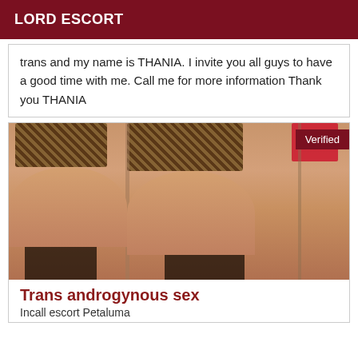LORD ESCORT
trans and my name is THANIA. I invite you all guys to have a good time with me. Call me for more information Thank you THANIA
[Figure (photo): Photo showing a person from behind wearing leopard print garment, with a red top visible in corner, sitting on black bar stools. A vertical divider splits the image. Verified badge in top right corner.]
Trans androgynous sex
Incall escort Petaluma